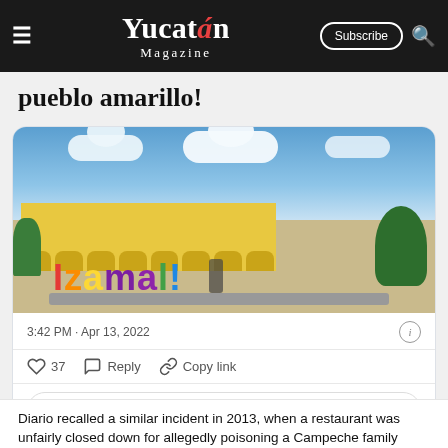Yucatán Magazine
pueblo amarillo!
[Figure (photo): Colorful Izamal sign in front of yellow colonial building with arches, plaza, blue sky with clouds and green trees]
3:42 PM · Apr 13, 2022
37   Reply   Copy link
Read 1 reply
Diario recalled a similar incident in 2013, when a restaurant was unfairly closed down for allegedly poisoning a Campeche family